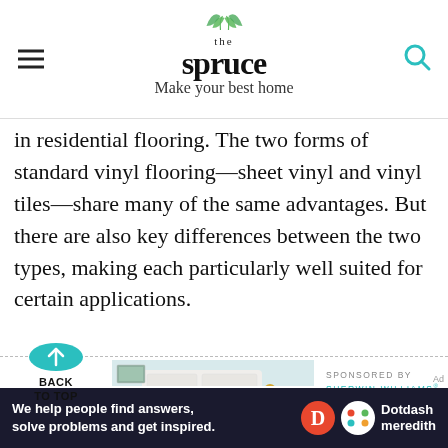the spruce — Make your best home
in residential flooring. The two forms of standard vinyl flooring—sheet vinyl and vinyl tiles—share many of the same advantages. But there are also key differences between the two types, making each particularly well suited for certain applications.
[Figure (illustration): Bedroom photo showing white paneled headboard, pillows, nightstand with clock, and wall sconce against teal/blue wall]
SPONSORED BY
SHERWIN-WILLIAMS®
My Life in Color Quiz
Ad
We help people find answers, solve problems and get inspired.